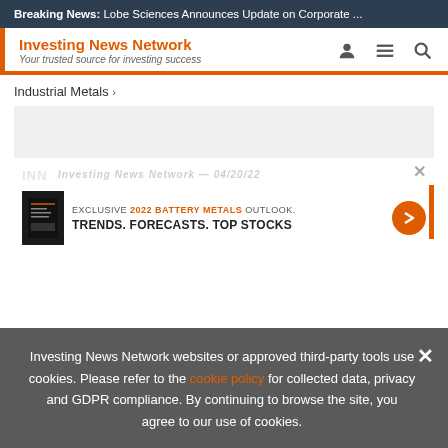Breaking News: Lobe Sciences Announces Update on Corporate ...
Investing News Network
Your trusted source for investing success
Industrial Metals >
[Figure (screenshot): INN Investing News Network watermark/logo area partially visible]
[Figure (infographic): Advertisement banner: EXCLUSIVE 2022 BATTERY METALS OUTLOOK. TRENDS. FORECASTS. TOP STOCKS with orange arrow button and vertical orange bar]
Investing News Network websites or approved third-party tools use cookies. Please refer to the cookie policy for collected data, privacy and GDPR compliance. By continuing to browse the site, you agree to our use of cookies.